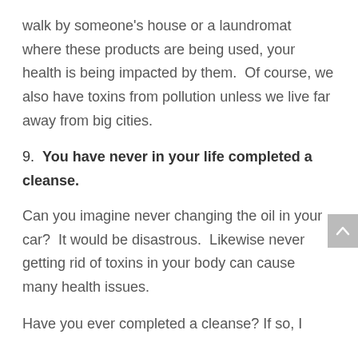walk by someone's house or a laundromat where these products are being used, your health is being impacted by them.  Of course, we also have toxins from pollution unless we live far away from big cities.
9.  You have never in your life completed a cleanse.
Can you imagine never changing the oil in your car?  It would be disastrous.  Likewise never getting rid of toxins in your body can cause many health issues.
Have you ever completed a cleanse? If so, I